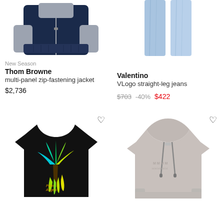[Figure (photo): Thom Browne multi-panel zip-fastening jacket in navy/grey, shown from front on white background]
New Season
Thom Browne
multi-panel zip-fastening jacket
$2,736
[Figure (photo): Valentino VLogo straight-leg jeans in light blue denim, shown folded on white background]
Valentino
VLogo straight-leg jeans
$703 -40% $422
[Figure (photo): Palm Angels black t-shirt with colorful dripping palm tree graphic print]
[Figure (photo): Grey hoodie with embossed logo text, drawstring, shown on white background]